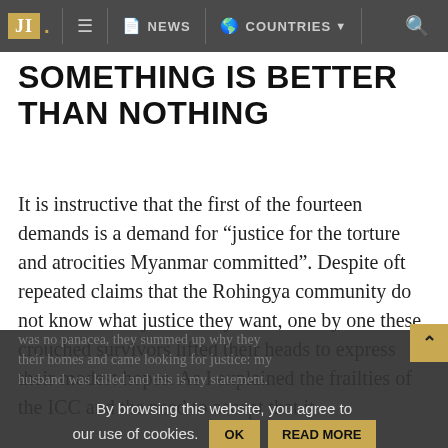JI. NEWS COUNTRIES
SOMETHING IS BETTER THAN NOTHING
It is instructive that the first of the fourteen demands is a demand for “justice for the torture and atrocities Myanmar committed”. Despite oft repeated claims that the Rohingya community do not know what justice they want, one by one these crouched survivors lifted their heads to express their modest hopes. As I explained the frailties of the ICC and the need to accept that it was no panacea, they summed up why they their homes and came looking for justice: my husband was killed and this is my statement.
By browsing this website, you agree to our use of cookies.
OK  READ MORE